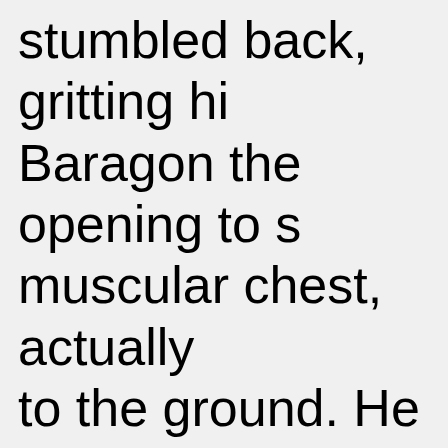stumbled back, gritting hi Baragon the opening to s muscular chest, actually to the ground. He could w this new---

    Baragon's ideas of vict lungs, were knocked out